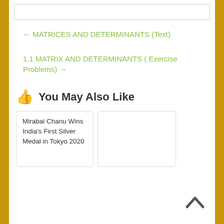← MATRICES AND DETERMINANTS (Text)
1.1 MATRIX AND DETERMINANTS ( Exercise Problems) →
👍 You May Also Like
Mirabai Chanu Wins India's First Silver Medal in Tokyo 2020